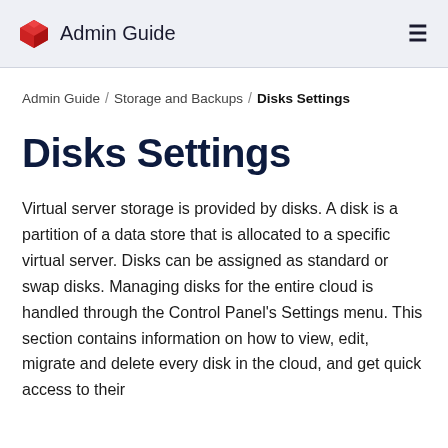Admin Guide
Admin Guide / Storage and Backups / Disks Settings
Disks Settings
Virtual server storage is provided by disks. A disk is a partition of a data store that is allocated to a specific virtual server. Disks can be assigned as standard or swap disks. Managing disks for the entire cloud is handled through the Control Panel's Settings menu. This section contains information on how to view, edit, migrate and delete every disk in the cloud, and get quick access to their